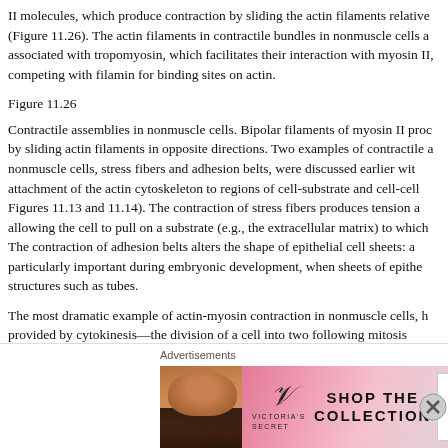II molecules, which produce contraction by sliding the actin filaments relative (Figure 11.26). The actin filaments in contractile bundles in nonmuscle cells a associated with tropomyosin, which facilitates their interaction with myosin II, competing with filamin for binding sites on actin.
Figure 11.26
Contractile assemblies in nonmuscle cells. Bipolar filaments of myosin II proc by sliding actin filaments in opposite directions. Two examples of contractile a nonmuscle cells, stress fibers and adhesion belts, were discussed earlier wit attachment of the actin cytoskeleton to regions of cell-substrate and cell-cell Figures 11.13 and 11.14). The contraction of stress fibers produces tension a allowing the cell to pull on a substrate (e.g., the extracellular matrix) to which The contraction of adhesion belts alters the shape of epithelial cell sheets: a particularly important during embryonic development, when sheets of epithe structures such as tubes.
The most dramatic example of actin-myosin contraction in nonmuscle cells, h provided by cytokinesis—the division of a cell into two following mitosis (Figure the end of mitosis in animal cells, a contractile ring consisting of actin filamen assembles just underneath the plasma membrane. Its contraction pulls
[Figure (photo): Advertisement banner for Victoria's Secret showing a woman and 'SHOP THE COLLECTION' text with 'SHOP NOW' call to action button]